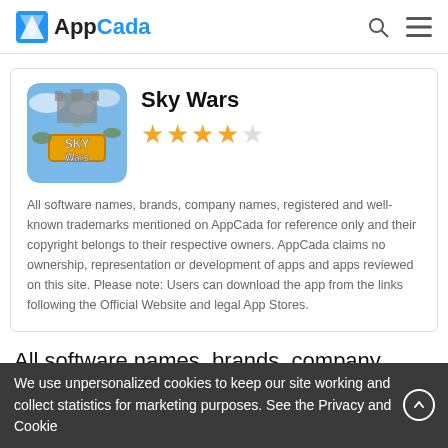AppCada
[Figure (screenshot): Sky Wars app icon with blue background and SKY Wars text]
Sky Wars
★★★★☆ (3.5 stars rating)
All software names, brands, company names, registered and well-known trademarks mentioned on AppCada for reference only and their copyright belongs to their respective owners. AppCada claims no ownership, representation or development of apps and apps reviewed on this site. Please note: Users can download the app from the links following the Official Website and legal App Stores.
All software names, brands, company names, registered and well-known trademarks mentioned on AppCada for reference
We use unpersonalized cookies to keep our site working and collect statistics for marketing purposes. See the Privacy and Cookie